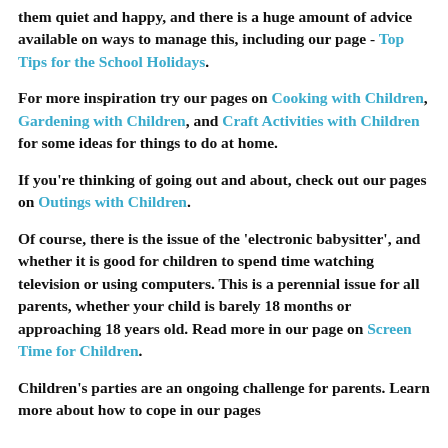them quiet and happy, and there is a huge amount of advice available on ways to manage this, including our page - Top Tips for the School Holidays.
For more inspiration try our pages on Cooking with Children, Gardening with Children, and Craft Activities with Children for some ideas for things to do at home.
If you're thinking of going out and about, check out our pages on Outings with Children.
Of course, there is the issue of the ‘electronic babysitter’, and whether it is good for children to spend time watching television or using computers. This is a perennial issue for all parents, whether your child is barely 18 months or approaching 18 years old. Read more in our page on Screen Time for Children.
Children’s parties are an ongoing challenge for parents. Learn more about how to cope in our pages...